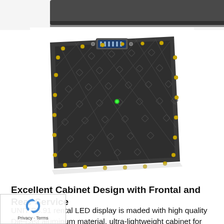[Figure (photo): Top portion of a product photo showing a white surface with part of a dark LED panel or similar device at the very top edge]
[Figure (photo): Rear view of an LED display cabinet panel (P3.91 rental LED display). Dark grey die-cast aluminum back panel with a geometric diamond/hexagonal pattern of structural ribs, multiple gold/brass screw points around the perimeter, and a connector port at the top center with a green indicator light in the middle.]
Excellent Cabinet Design with Frontal and Rear Service
UNIT P3.91 rental LED display is maded with high quality Die-cast aluminum material. ultra-lightweight cabinet for easy carry and transportation. fast lock design to make the LED screen for easy installation